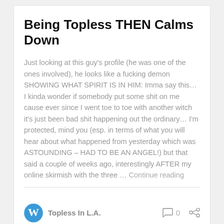Being Topless THEN Calms Down
Just looking at this guy's profile (he was one of the ones involved), he looks like a fucking demon SHOWING WHAT SPIRIT IS IN HIM: Imma say this… I kinda wonder if somebody put some shit on me cause ever since I went toe to toe with another witch it's just been bad shit happening out the ordinary… I'm protected, mind you (esp. in terms of what you will hear about what happened from yesterday which was ASTOUNDING – HAD TO BE AN ANGEL!) but that said a couple of weeks ago, interestingly AFTER my online skirmish with the three … Continue reading
Topless In L.A.
Imma tell ya something about them….. black folks need